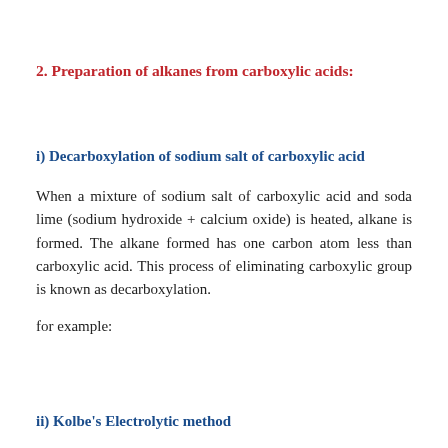2. Preparation of alkanes from carboxylic acids:
i) Decarboxylation of sodium salt of carboxylic acid
When a mixture of sodium salt of carboxylic acid and soda lime (sodium hydroxide + calcium oxide) is heated, alkane is formed. The alkane formed has one carbon atom less than carboxylic acid. This process of eliminating carboxylic group is known as decarboxylation.
for example:
ii) Kolbe's Electrolytic method